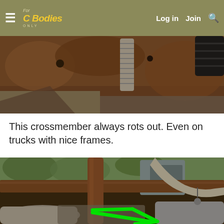For C Bodies Only — Log in | Join | Search
[Figure (photo): Close-up photo of a rusted vehicle crossmember/frame area with a corrugated hose and metal components visible]
This crossmember always rots out. Even on trucks with nice frames.
[Figure (photo): Photo of a vehicle undercarriage showing a rusted crossmember/frame with exhaust pipes, with a bright green arrow pointing to a specific area of rot damage. Background shows outdoor junkyard setting with vegetation.]